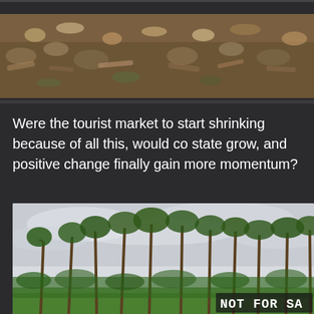[Figure (photo): Aerial or close-up view of a garbage dump or landfill with debris, plastic bags, and waste materials scattered across dirt/soil ground.]
Were the tourist market to start shrinking because of all this, would co state grow, and positive change finally gain more momentum?
[Figure (photo): Landscape photo of a tropical rice field with tall coconut palm trees against a light cloudy sky. In the lower right corner, a sign reads 'NOT FOR SA' (partially cropped), implying 'NOT FOR SALE'.]